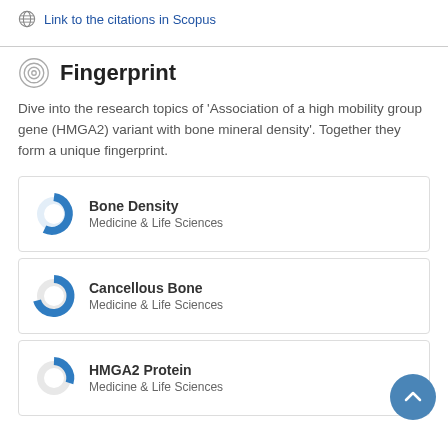Link to the citations in Scopus
Fingerprint
Dive into the research topics of 'Association of a high mobility group gene (HMGA2) variant with bone mineral density'. Together they form a unique fingerprint.
Bone Density
Medicine & Life Sciences
Cancellous Bone
Medicine & Life Sciences
HMGA2 Protein
Medicine & Life Sciences